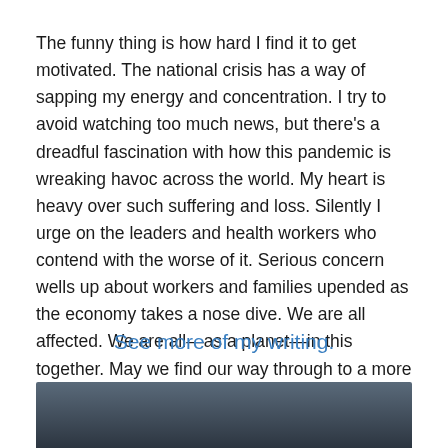The funny thing is how hard I find it to get motivated. The national crisis has a way of sapping my energy and concentration. I try to avoid watching too much news, but there's a dreadful fascination with how this pandemic is wreaking havoc across the world. My heart is heavy over such suffering and loss. Silently I urge on the leaders and health workers who contend with the worse of it. Serious concern wells up about workers and families upended as the economy takes a nose dive. We are all affected. We are all—as a planet—in this together. May we find our way through to a more cohesive and caring tomorrow.
See more of my writing.
[Figure (photo): Dark gradient image at the bottom of the page, appearing to be the top portion of a photograph with dark slate/blue-grey tones.]